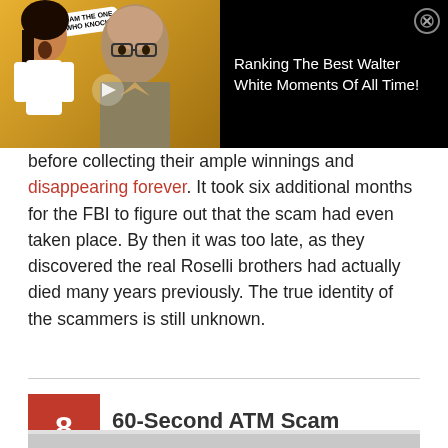[Figure (screenshot): Video advertisement banner showing a thumbnail with a woman and Walter White (Bryan Cranston) character, with title 'Ranking The Best Walter White Moments Of All Time!' and a close (X) button]
before collecting their ample winnings and disappearing forever. It took six additional months for the FBI to figure out that the scam had even taken place. By then it was too late, as they discovered the real Roselli brothers had actually died many years previously. The true identity of the scammers is still unknown.
8  60-Second ATM Scam